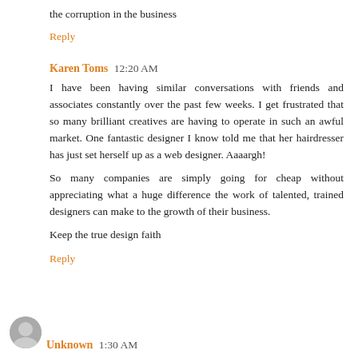the corruption in the business
Reply
Karen Toms  12:20 AM
I have been having similar conversations with friends and associates constantly over the past few weeks. I get frustrated that so many brilliant creatives are having to operate in such an awful market. One fantastic designer I know told me that her hairdresser has just set herself up as a web designer. Aaaargh!
So many companies are simply going for cheap without appreciating what a huge difference the work of talented, trained designers can make to the growth of their business.
Keep the true design faith
Reply
Unknown  1:30 AM